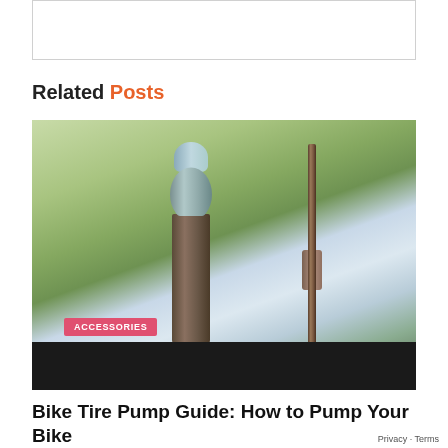[Figure (other): Empty advertisement box with thin border]
Related Posts
[Figure (photo): Close-up photograph of two bicycle tire valve stems (a Presta valve on the left with a clear cap and threaded body, and a Schrader valve on the right, both mounted on a dark tire rim) with blurred green and sky background. An 'ACCESSORIES' badge in pink/red is overlaid at the bottom left.]
Bike Tire Pump Guide: How to Pump Your Bike